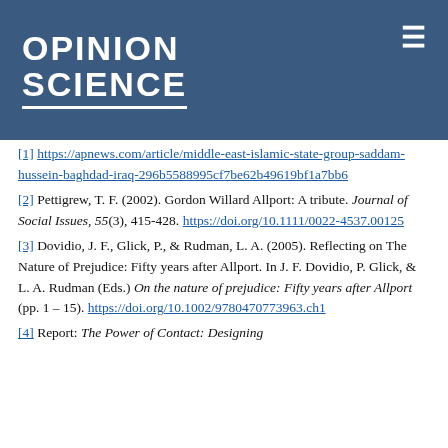Opinion Science
[1] https://apnews.com/article/middle-east-islamic-state-group-saddam-hussein-baghdad-iraq-296b5588995cf7be62b49619bf1a7bb6
[2] Pettigrew, T. F. (2002). Gordon Willard Allport: A tribute. Journal of Social Issues, 55(3), 415-428. https://doi.org/10.1111/0022-4537.00125
[3] Dovidio, J. F., Glick, P., & Rudman, L. A. (2005). Reflecting on The Nature of Prejudice: Fifty years after Allport. In J. F. Dovidio, P. Glick, & L. A. Rudman (Eds.) On the nature of prejudice: Fifty years after Allport (pp. 1 – 15). https://doi.org/10.1002/9780470773963.ch1
[4] Report: The Power of Contact: Designing...